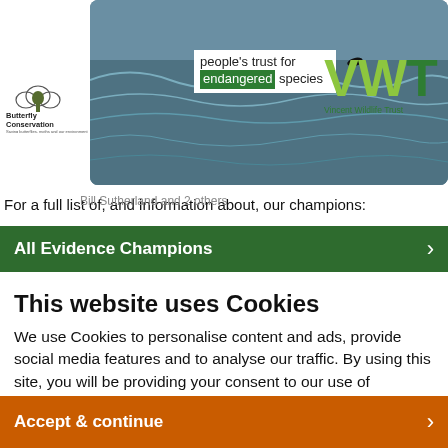[Figure (photo): Ocean scene with a dark fin visible above the water surface, showing waves. Overlaid with logos: Butterfly Conservation (butterfly and tree), People's Trust for Endangered Species, and Vincent Wildlife Trust (VWT) green logo.]
For a full list of, and information about, our champions:
Bill Sutherland and 2 others
All Evidence Champions
This website uses Cookies
We use Cookies to personalise content and ads, provide social media features and to analyse our traffic. By using this site, you will be providing your consent to our use of Cookies.
Accept & continue